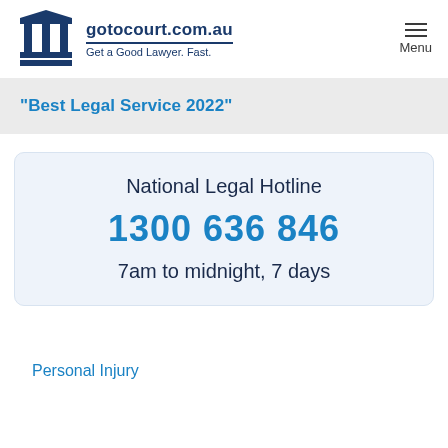[Figure (logo): Columns/pillars icon representing a courthouse or legal institution in dark navy blue]
gotocourt.com.au
Get a Good Lawyer. Fast.
"Best Legal Service 2022"
National Legal Hotline
1300 636 846
7am to midnight, 7 days
Personal Injury